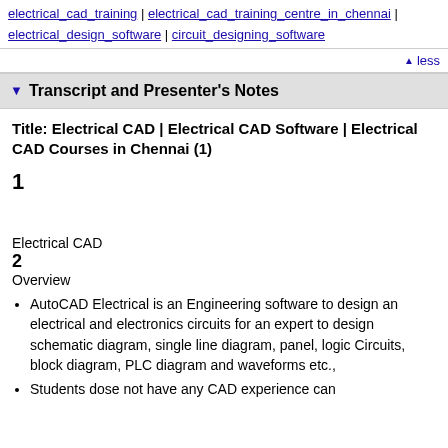electrical_cad_training | electrical_cad_training_centre_in_chennai | electrical_design_software | circuit_designing_software
less
Transcript and Presenter's Notes
Title: Electrical CAD | Electrical CAD Software | Electrical CAD Courses in Chennai (1)
1
Electrical CAD
2
Overview
AutoCAD Electrical is an Engineering software to design an electrical and electronics circuits for an expert to design schematic diagram, single line diagram, panel, logic Circuits, block diagram, PLC diagram and waveforms etc.,
Students dose not have any CAD experience can